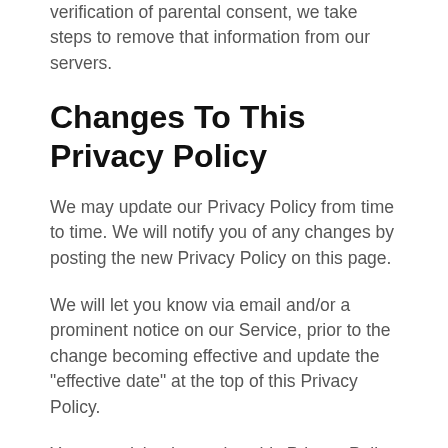verification of parental consent, we take steps to remove that information from our servers.
Changes To This Privacy Policy
We may update our Privacy Policy from time to time. We will notify you of any changes by posting the new Privacy Policy on this page.
We will let you know via email and/or a prominent notice on our Service, prior to the change becoming effective and update the "effective date" at the top of this Privacy Policy.
You are advised to review this Privacy Policy periodically for any changes. Changes to this